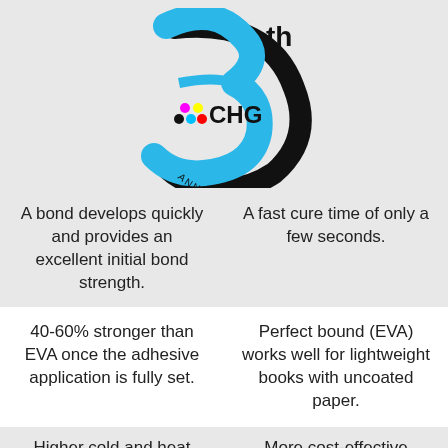[Figure (logo): CHG 35th Anniversary logo with blue '3', black '5th', dot grid, CHG text, and 'ANNIVERSARY' arc text]
A bond develops quickly and provides an excellent initial bond strength.
A fast cure time of only a few seconds.
40-60% stronger than EVA once the adhesive application is fully set.
Perfect bound (EVA) works well for lightweight books with uncoated paper.
Higher cold and heat
More cost-effective